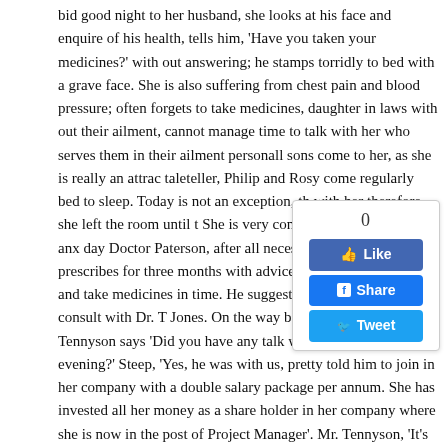bid good night to her husband, she looks at his face and enquire of his health, tells him, 'Have you taken your medicines?' with out answering; he stamps torridly to bed with a grave face. She is also suffering from chest pain and blood pressure; often forgets to take medicines, daughter in laws with out their ailment, cannot manage time to talk with her who serves them in their ailment personally, sons come to her, as she is really an attractive taleteller, Philip and Rosy come regularly to bed to sleep. Today is not an exception, the with her therefore she left the room until t She is very concerned of his health in anx day Doctor Paterson, after all necessary pathological tests, prescribes for three months with advice to be free from stress and take medicines in time. He suggests if any trouble comes, consult with Dr. T Jones. On the way back home, Mr. Tennyson says 'Did you have any talk with Bravo last evening?' Steep, 'Yes, he was with us, pretty told him to join in her company with a double salary package per annum. She has invested all her money as a share holder in her company where she is now in the post of Project Manager'. Mr. Tennyson, 'It's very good, she is efficient enough. I am very glad.' Steep, 'But why do you ask me of any talk with Bravo? What did he say?' 'No, I told him to talk to you for arrangement of birthday ceremony of
[Figure (infographic): Social media sharing widget with count '0', Like button (blue), Share button (Facebook blue), and Tweet button (Twitter blue)]